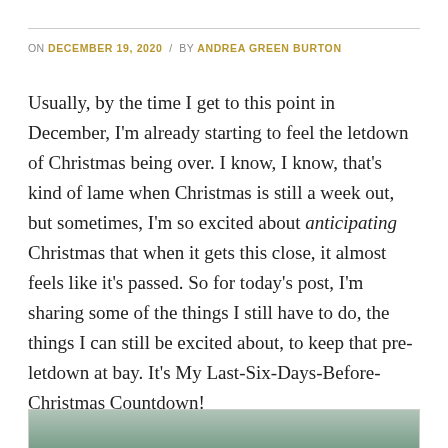ON DECEMBER 19, 2020 / BY ANDREA GREEN BURTON
Usually, by the time I get to this point in December, I'm already starting to feel the letdown of Christmas being over. I know, I know, that's kind of lame when Christmas is still a week out, but sometimes, I'm so excited about anticipating Christmas that when it gets this close, it almost feels like it's passed. So for today's post, I'm sharing some of the things I still have to do, the things I can still be excited about, to keep that pre-letdown at bay. It's My Last-Six-Days-Before-Christmas Countdown!
[Figure (photo): Bottom portion of a photo, partially visible at the bottom of the page.]